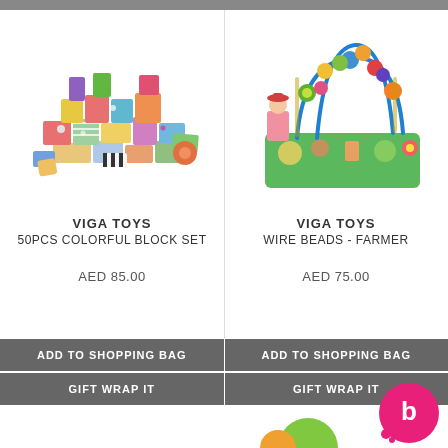[Figure (photo): Viga Toys 50pcs colorful wooden block set - various colored blocks stacked]
VIGA TOYS
50PCS COLORFUL BLOCK SET

AED 85.00
[Figure (photo): Viga Toys Wire Beads Farmer - bead maze toy on green base with farm theme]
VIGA TOYS
WIRE BEADS - FARMER

AED 75.00
ADD TO SHOPPING BAG
ADD TO SHOPPING BAG
GIFT WRAP IT
GIFT WRAP IT
WISH LIST IT
WISH LIST IT
[Figure (logo): Pink circular chat bubble logo with letter b]